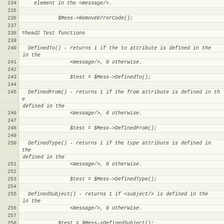Code listing lines 234-262 showing documentation/POD for Jabber message class methods including RemoveErrorCode, Test functions section header, DefinedTo, DefinedFrom, DefinedType, DefinedSubject, DefinedBody methods
=head2 Test functions